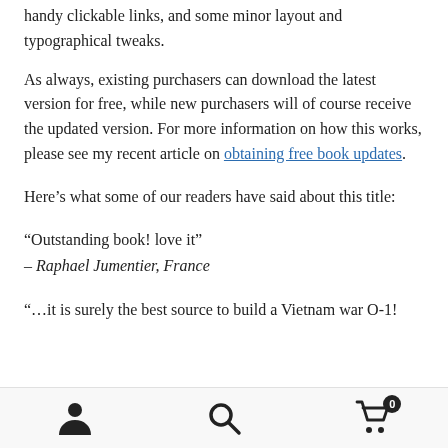handy clickable links, and some minor layout and typographical tweaks.
As always, existing purchasers can download the latest version for free, while new purchasers will of course receive the updated version. For more information on how this works, please see my recent article on obtaining free book updates.
Here’s what some of our readers have said about this title:
“Outstanding book! love it”
– Raphael Jumentier, France
“…it is surely the best source to build a Vietnam war O-1!
user icon | search icon | cart icon with badge 0